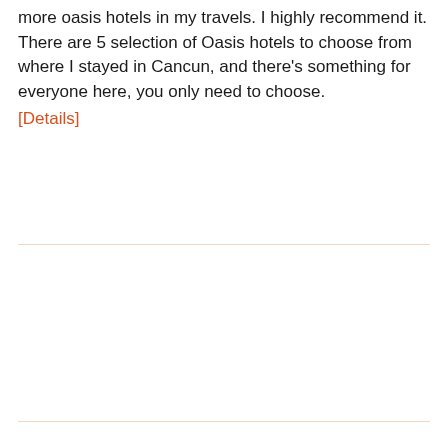more oasis hotels in my travels. I highly recommend it. There are 5 selection of Oasis hotels to choose from where I stayed in Cancun, and there's something for everyone here, you only need to choose. [Details]